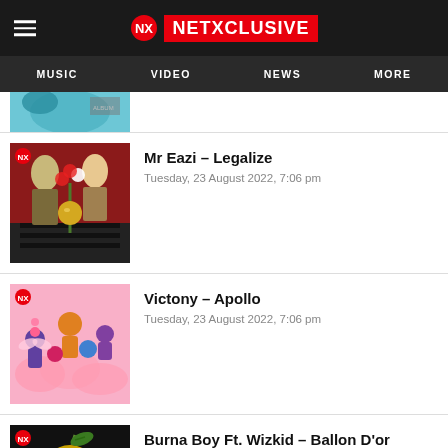NETXCLUSIVE — MUSIC | VIDEO | NEWS | MORE
Mr Eazi – Legalize
Tuesday, 23 August 2022, 7:06 pm
Victony – Apollo
Tuesday, 23 August 2022, 7:06 pm
Burna Boy Ft. Wizkid – Ballon D'or
Tuesday, 23 August 2022, 7:06 pm